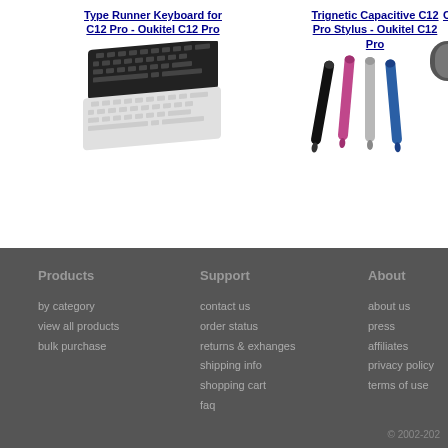Type Runner Keyboard for C12 Pro - Oukitel C12 Pro
[Figure (photo): Two wireless Bluetooth keyboards stacked, one black on top and one white/silver below]
Trignetic Capacitive C12 Pro Stylus - Oukitel C12 Pro
[Figure (photo): Four capacitive stylus pens in black, pink, silver, and blue colors arranged side by side]
C1
[Figure (photo): Partial view of a third product]
Products
by category
view all products
bulk purchase

Support
contact us
order status
returns & exhanges
shipping info
shopping cart
faq

About
about us
press
affiliates
privacy policy
terms of use

© 2002-202